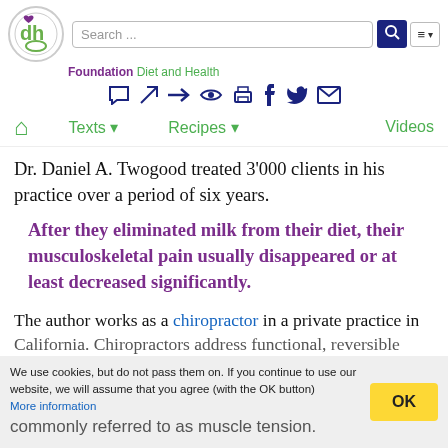Foundation Diet and Health
Dr. Daniel A. Twogood treated 3'000 clients in his practice over a period of six years.
After they eliminated milk from their diet, their musculoskeletal pain usually disappeared or at least decreased significantly.
The author works as a chiropractor in a private practice in California. Chiropractors address functional, reversible ... which are commonly referred to as muscle tension.
We use cookies, but do not pass them on. If you continue to use our website, we will assume that you agree (with the OK button). More information